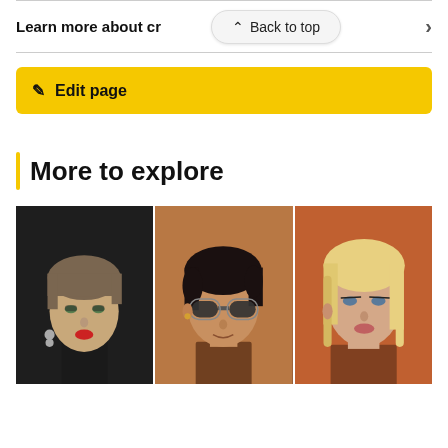Learn more about cr
Back to top
Edit page
More to explore
[Figure (photo): Three portrait photos side by side: a young person with short hair and red lipstick wearing earrings; a man with dark curly hair and round sunglasses; a blonde woman with straight hair.]